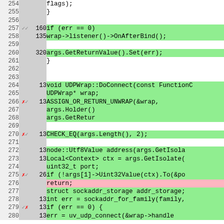[Figure (screenshot): Code coverage viewer showing source code lines 254-280 with line numbers, hit counts, coverage markers (checkmarks and x marks), and color-coded backgrounds (green for covered, pink for uncovered, gray for not executable). Code shows C++ UDP socket binding and connect logic.]